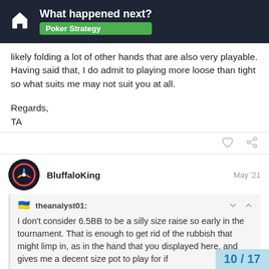What happened next? Poker Strategy
likely folding a lot of other hands that are also very playable. Having said that, I do admit to playing more loose than tight so what suits me may not suit you at all.

Regards,
TA
BluffaloKing May '21
theanalyst01: I don't consider 6.5BB to be a silly size raise so early in the tournament. That is enough to get rid of the rubbish that might limp in, as in the hand that you displayed here, and gives me a decent size pot to play for if
10 / 17